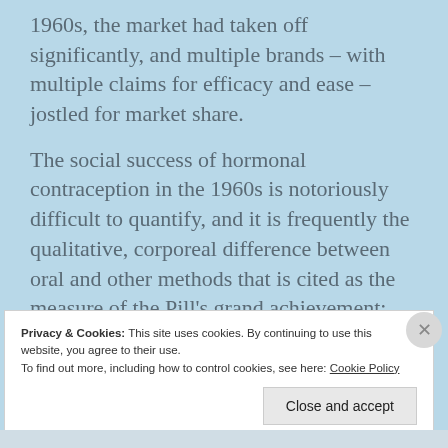1960s, the market had taken off significantly, and multiple brands – with multiple claims for efficacy and ease – jostled for market share.
The social success of hormonal contraception in the 1960s is notoriously difficult to quantify, and it is frequently the qualitative, corporeal difference between oral and other methods that is cited as the measure of the Pill's grand achievement; namely, that momentous 'separation' of contraception and sex.
Privacy & Cookies: This site uses cookies. By continuing to use this website, you agree to their use.
To find out more, including how to control cookies, see here: Cookie Policy
Close and accept